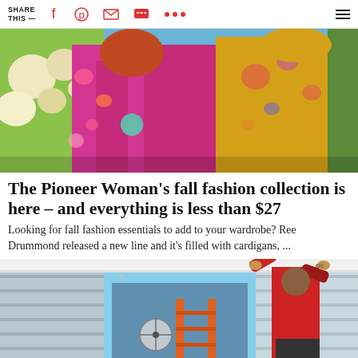SHARE THIS —
[Figure (photo): Two women in colorful floral outfits standing in front of flowers. Left woman wears a magenta top with floral kimono and turquoise necklace. Right woman wears a yellow floral dress.]
The Pioneer Woman's fall fashion collection is here – and everything is less than $27
Looking for fall fashion essentials to add to your wardrobe? Ree Drummond released a new line and it's filled with cardigans, ...
[Figure (photo): A person in a red shirt on an orange ladder working on the exterior siding of a house, reaching up toward the roofline.]